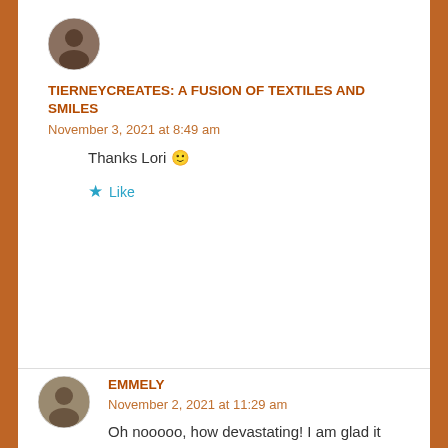[Figure (photo): Circular avatar photo of TierneyCreates blog author]
TIERNEYCREATES: A FUSION OF TEXTILES AND SMILES
November 3, 2021 at 8:49 am
Thanks Lori 🙂
★ Like
[Figure (photo): Circular avatar photo of Emmely commenter]
EMMELY
November 2, 2021 at 11:29 am
Oh nooooo, how devastating! I am glad it eventually worked out though.